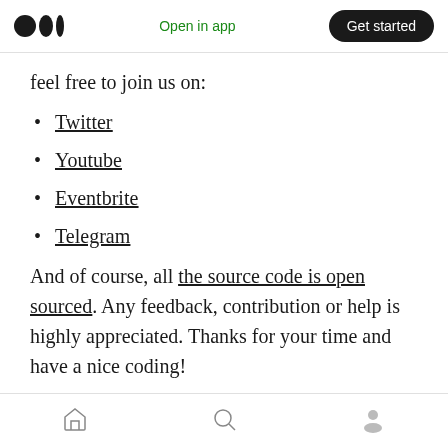Medium logo | Open in app | Get started
feel free to join us on:
Twitter
Youtube
Eventbrite
Telegram
And of course, all the source code is open sourced. Any feedback, contribution or help is highly appreciated. Thanks for your time and have a nice coding!
Home | Search | Profile